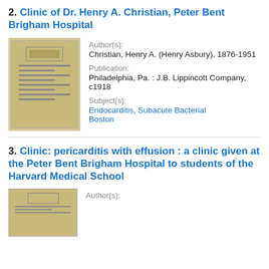2. Clinic of Dr. Henry A. Christian, Peter Bent Brigham Hospital
[Figure (photo): Thumbnail image of a yellowed book cover for the clinic publication]
Author(s): Christian, Henry A. (Henry Asbury), 1876-1951
Publication: Philadelphia, Pa. : J.B. Lippincott Company, c1918
Subject(s): Endocarditis, Subacute Bacterial Boston
3. Clinic: pericarditis with effusion : a clinic given at the Peter Bent Brigham Hospital to students of the Harvard Medical School
[Figure (photo): Thumbnail image of a yellowed book cover for the clinic publication]
Author(s):